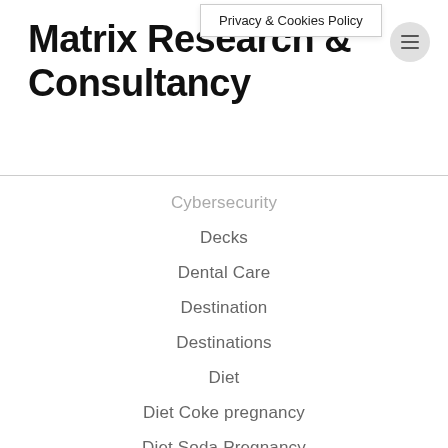Privacy & Cookies Policy
Matrix Research & Consultancy
Cybersecurity
Decks
Dental Care
Destination
Destinations
Diet
Diet Coke pregnancy
Diet Soda Pregnancy
Digital Marketing
Digital Marketing Funnel
discount realtors
Discount realtors Orange County
Divorce Real Estate